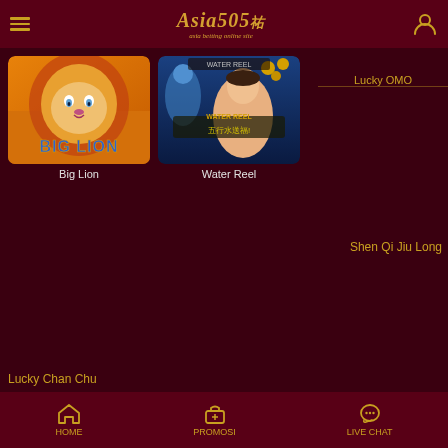Asia505 - Asia betting online site
[Figure (screenshot): Big Lion slot game thumbnail - lion with golden mane on orange background with text BIG LION]
Big Lion
[Figure (screenshot): Water Reel slot game thumbnail - Asian woman with dragon, blue theme, Chinese characters]
Water Reel
Lucky OMO
Shen Qi Jiu Long
Lucky Chan Chu
HOME   PROMOSI   LIVE CHAT